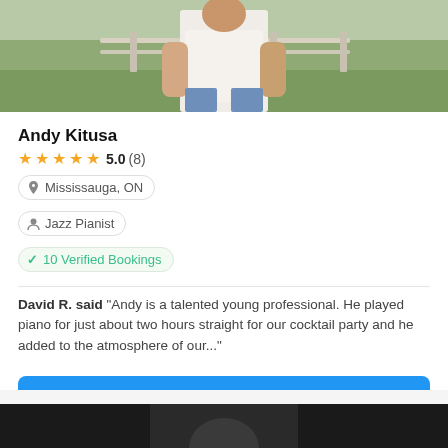[Figure (photo): Profile photo of Andy Kitusa, a young man in a white t-shirt and jeans with hands in pockets, standing outdoors with green background and fence]
Andy Kitusa
★★★★★ 5.0 (8)
Mississauga, ON
Jazz Pianist
10 Verified Bookings
David R. said "Andy is a talented young professional. He played piano for just about two hours straight for our cocktail party and he added to the atmosphere of our..."
Fast Free Quote
[Figure (photo): Bottom partial photo, dark background, appears to be another profile image cropped at the bottom of the page]